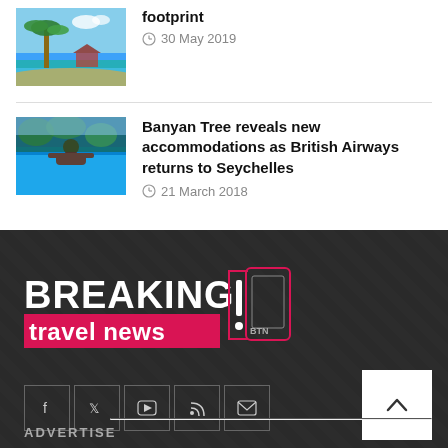[Figure (photo): Beach scene with palm trees and tropical water]
footprint
30 May 2019
[Figure (photo): Resort pool with person relaxing]
Banyan Tree reveals new accommodations as British Airways returns to Seychelles
21 March 2018
[Figure (logo): Breaking Travel News logo with BTN icon]
ADVERTISE